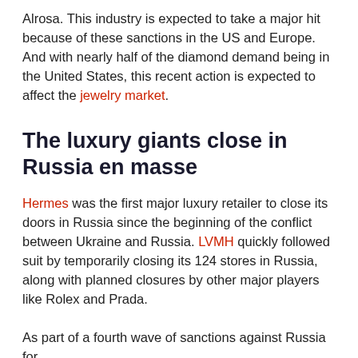Alrosa. This industry is expected to take a major hit because of these sanctions in the US and Europe. And with nearly half of the diamond demand being in the United States, this recent action is expected to affect the jewelry market.
The luxury giants close in Russia en masse
Hermes was the first major luxury retailer to close its doors in Russia since the beginning of the conflict between Ukraine and Russia. LVMH quickly followed suit by temporarily closing its 124 stores in Russia, along with planned closures by other major players like Rolex and Prada.
As part of a fourth wave of sanctions against Russia for